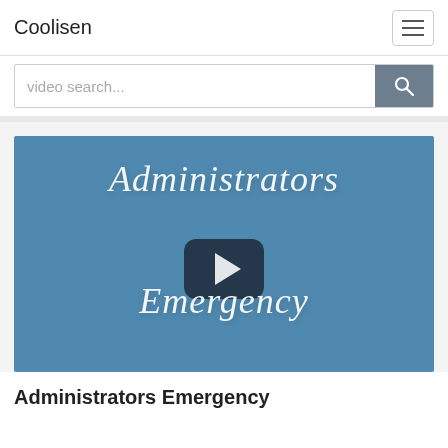Coolisen
video search...
[Figure (screenshot): Video thumbnail with blue background showing text 'Administrators Emergency' in italic white font with a play button overlay in the center.]
Administrators Emergency